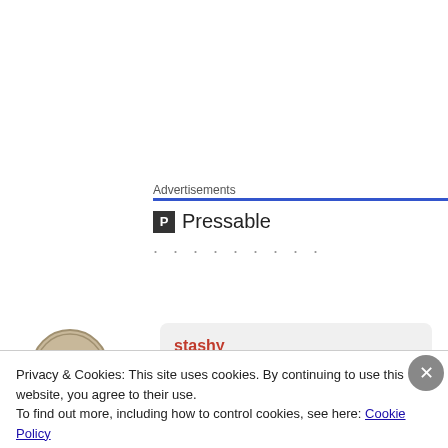Advertisements
[Figure (logo): Pressable logo with P icon and text 'Pressable' followed by dots]
[Figure (illustration): Circular badge/seal avatar icon for user stashy]
stashy
April 26, 2017 at 12:44 pm

Too bad about the bottle. I kind of have no tolerance for the pour
Privacy & Cookies: This site uses cookies. By continuing to use this website, you agree to their use.
To find out more, including how to control cookies, see here: Cookie Policy
Close and accept